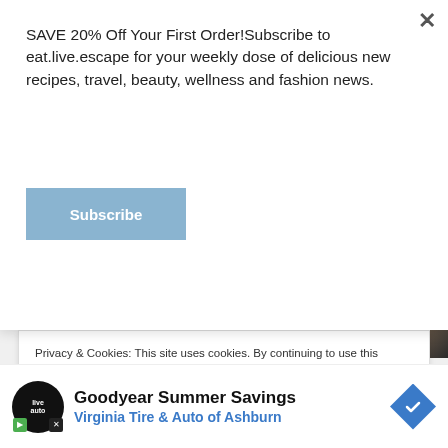SAVE 20% Off Your First Order!Subscribe to eat.live.escape for your weekly dose of delicious new recipes, travel, beauty, wellness and fashion news.
Subscribe
Beautifully styled food images and mouth-watering recipes are the hallmarks of Jella Bertell's delicious food blog, Vaimomatskuu. With her dramatic… Continue Reading
Privacy & Cookies: This site uses cookies. By continuing to use this website, you agree to their use.
To find out more, including how to control cookies, see here: Cookie Policy
Goodyear Summer Savings
Virginia Tire & Auto of Ashburn